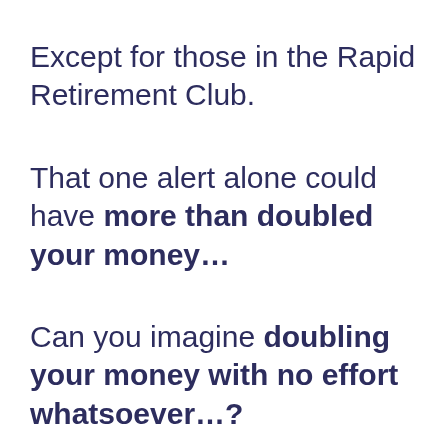Except for those in the Rapid Retirement Club.
That one alert alone could have more than doubled your money…
Can you imagine doubling your money with no effort whatsoever…?